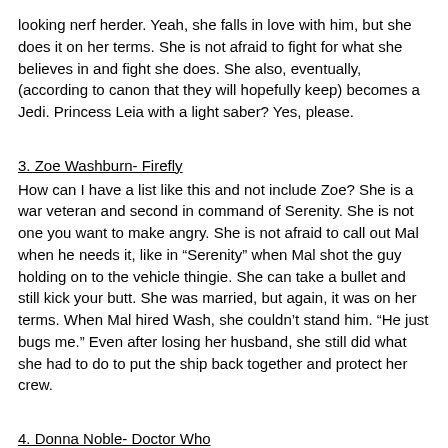looking nerf herder. Yeah, she falls in love with him, but she does it on her terms. She is not afraid to fight for what she believes in and fight she does. She also, eventually, (according to canon that they will hopefully keep) becomes a Jedi. Princess Leia with a light saber? Yes, please.
3. Zoe Washburn- Firefly
How can I have a list like this and not include Zoe? She is a war veteran and second in command of Serenity. She is not one you want to make angry. She is not afraid to call out Mal when he needs it, like in “Serenity” when Mal shot the guy holding on to the vehicle thingie. She can take a bullet and still kick your butt. She was married, but again, it was on her terms. When Mal hired Wash, she couldn’t stand him. “He just bugs me.” Even after losing her husband, she still did what she had to do to put the ship back together and protect her crew.
4. Donna Noble- Doctor Who
The thing I loved most about Donna was the lack of romantic attachment. We had to deal with the Rose/Ten love drama that, after a while, was really annoying, followed by the Martha trying to get Ten to